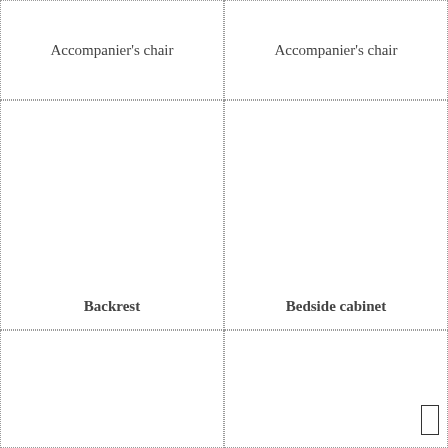Accompanier's chair
Accompanier's chair
Backrest
Bedside cabinet
[Figure (other): Empty cell with small rectangle icon in bottom-right corner]
[Figure (other): Empty cell]